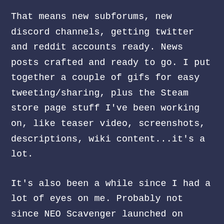That means new subforums, new discord channels, getting twitter and reddit accounts ready. News posts crafted and ready to go. I put together a couple of gifs for easy tweeting/sharing, plus the Steam store page stuff I've been working on, like teaser video, screenshots, descriptions, wiki content...it's a lot.
It's also been a while since I had a lot of eyes on me. Probably not since NEO Scavenger launched on mobile, and even that was minor compared to the launches back in 2012-2014 as NEO Scavenger released for the first time on various sites. I don't enjoy the pressure, if I'm being honest. But I think it will be a relief to get the word out and see what people like vs. not.